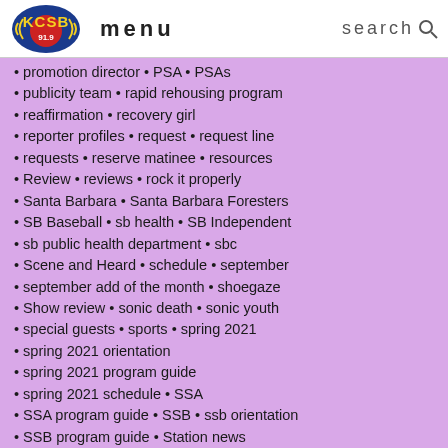menu | search
promotion director · PSA · PSAs
publicity team · rapid rehousing program
reaffirmation · recovery girl
reporter profiles · request · request line
requests · reserve matinee · resources
Review · reviews · rock it properly
Santa Barbara · Santa Barbara Foresters
SB Baseball · sb health · SB Independent
sb public health department · sbc
Scene and Heard · schedule · september
september add of the month · shoegaze
Show review · sonic death · sonic youth
special guests · sports · spring 2021
spring 2021 orientation
spring 2021 program guide
spring 2021 schedule · SSA
SSA program guide · SSB · ssb orientation
SSB program guide · Station news
t shirt design contest · Ta-Nehisi Coates
tape quarantine · tapequarantine · tea
thank you · the blacklight special
the healing center · ticketless movies
tg shoegaze week · trivia · ucsb